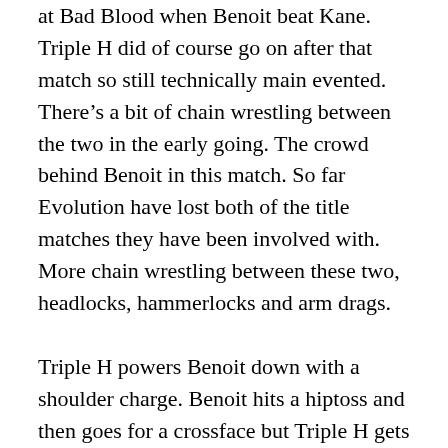at Bad Blood when Benoit beat Kane. Triple H did of course go on after that match so still technically main evented. There's a bit of chain wrestling between the two in the early going. The crowd behind Benoit in this match. So far Evolution have lost both of the title matches they have been involved with. More chain wrestling between these two, headlocks, hammerlocks and arm drags.
Triple H powers Benoit down with a shoulder charge. Benoit hits a hiptoss and then goes for a crossface but Triple H gets straight to the ropes and exits the ring. Chris goes after him and lays in some chops before ramming Helmsley's face into the barrier. Back in the ring and Triple H hits a running high knee and then a suplex. Benoit is the longest reigning champion on Raw at the moment. Triple H takes him down with a reverse elbow for a near fall. Backbreaker from Triple H before The Game throws Benoit out of the ring. Triple H rams